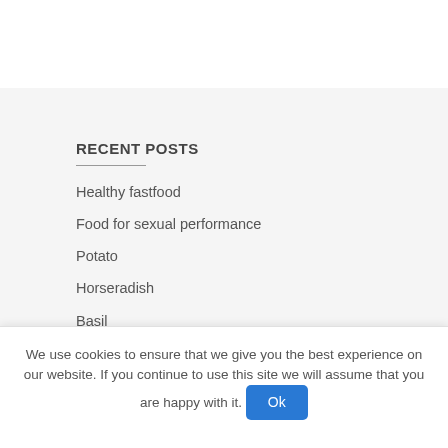RECENT POSTS
Healthy fastfood
Food for sexual performance
Potato
Horseradish
Basil
We use cookies to ensure that we give you the best experience on our website. If you continue to use this site we will assume that you are happy with it.